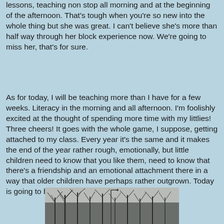lessons, teaching non stop all morning and at the beginning of the afternoon. That's tough when you're so new into the whole thing but she was great. I can't believe she's more than half way through her block experience now. We're going to miss her, that's for sure.
As for today, I will be teaching more than I have for a few weeks. Literacy in the morning and all afternoon. I'm foolishly excited at the thought of spending more time with my littlies! Three cheers! It goes with the whole game, I suppose, getting attached to my class. Every year it's the same and it makes the end of the year rather rough, emotionally, but little children need to know that you like them, need to know that there's a friendship and an emotional attachment there in a way that older children have perhaps rather outgrown. Today is going to be good!
[Figure (photo): Black and white photograph of bare winter trees against an overcast sky, with what appears to be a building or structure partially visible among the trees.]